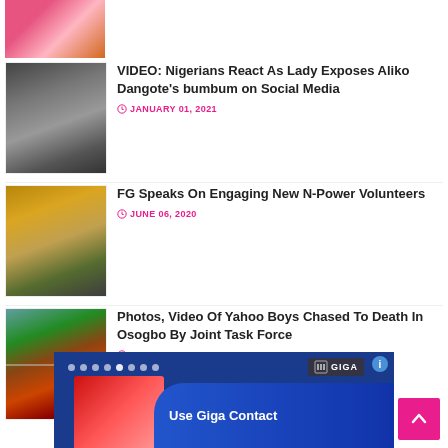[Figure (photo): Partial view of woman in pink/colorful outfit at top of page]
[Figure (photo): Man with glasses looking thoughtful, in suit]
VIDEO: Nigerians React As Lady Exposes Aliko Dangote's bumbum on Social Media
JANUARY 01, 2021
[Figure (photo): Woman in yellow headwrap and outfit]
FG Speaks On Engaging New N-Power Volunteers
JUNE 06, 2020
[Figure (photo): Scene with cars and people, red sports car visible]
Photos, Video Of Yahoo Boys Chased To Death In Osogbo By Joint Task Force
SEPTEMBER 16, 2020
[Figure (photo): Advertisement banner for Giga Contact, showing red product and blue background with 'Use Giga Contact' text]